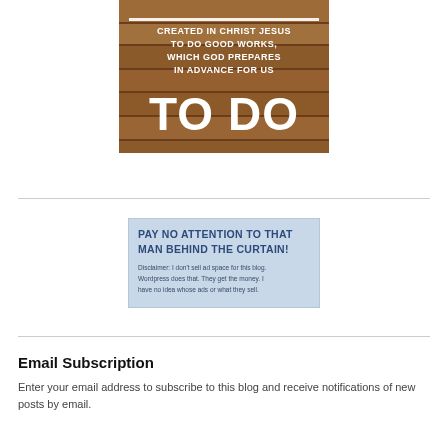[Figure (illustration): Wooden plank background image with white bold text reading: CREATED IN CHRIST JESUS TO DO GOOD WORKS, WHICH GOD PREPARES IN ADVANCE FOR US TO DO]
[Figure (illustration): Light blue disclaimer box with dark blue bold text: PAY NO ATTENTION TO THAT MAN BEHIND THE CURTAIN! and smaller text: Disclaimer: I don't sell ad space for this blog. Wordpress does that. They get the money. I have no idea whose ads or what they sell.]
Email Subscription
Enter your email address to subscribe to this blog and receive notifications of new posts by email.